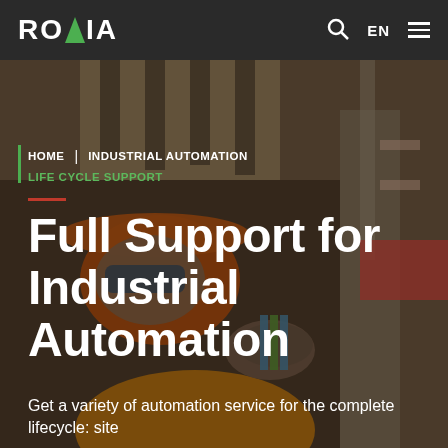ROXIA | EN
[Figure (photo): Industrial worker wearing an orange hard hat and safety glasses, examining equipment in a manufacturing or automation facility. Background shows industrial machinery and structural elements.]
HOME | INDUSTRIAL AUTOMATION | LIFE CYCLE SUPPORT
Full Support for Industrial Automation
Get a variety of automation service for the complete lifecycle: site